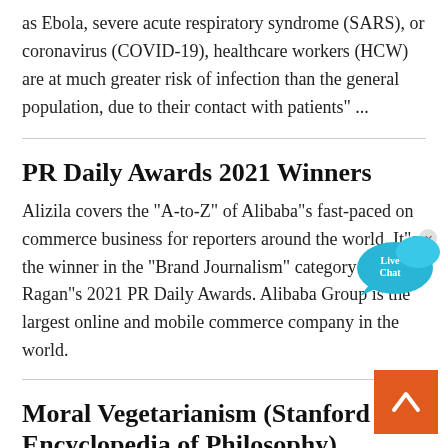as Ebola, severe acute respiratory syndrome (SARS), or coronavirus (COVID-19), healthcare workers (HCW) are at much greater risk of infection than the general population, due to their contact with patients" ...
PR Daily Awards 2021 Winners
Alizila covers the "A-to-Z" of Alibaba"s fast-paced on commerce business for reporters around the world. It"s the winner in the "Brand Journalism" category of Ragan"s 2021 PR Daily Awards. Alibaba Group is the largest online and mobile commerce company in the world.
Moral Vegetarianism (Stanford Encyclopedia of Philosophy)
2018-9-14 · Moral Vegetarianism. First published Fri Sep